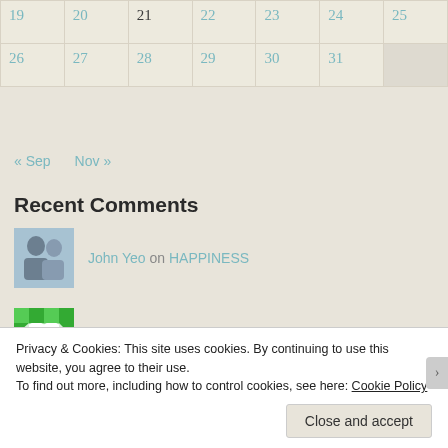| 19 | 20 | 21 | 22 | 23 | 24 | 25 |
| 26 | 27 | 28 | 29 | 30 | 31 |  |
« Sep   Nov »
Recent Comments
John Yeo on HAPPINESS
LianaB on HAPPINESS
RE-READ – John… on RE-READ
Privacy & Cookies: This site uses cookies. By continuing to use this website, you agree to their use.
To find out more, including how to control cookies, see here: Cookie Policy
Close and accept